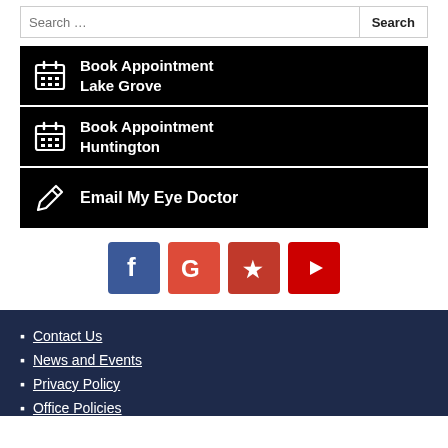Search ...
Book Appointment Lake Grove
Book Appointment Huntington
Email My Eye Doctor
[Figure (infographic): Social media icons: Facebook, Google, Yelp, YouTube]
Contact Us
News and Events
Privacy Policy
Office Policies